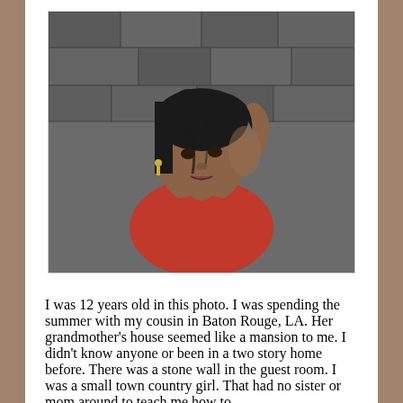[Figure (photo): A young girl approximately 12 years old, wearing a red top, posing with her arm raised behind her head against a stone wall background.]
I was 12 years old in this photo. I was spending the summer with my cousin in Baton Rouge, LA. Her grandmother's house seemed like a mansion to me. I didn't know anyone or been in a two story home before. There was a stone wall in the guest room. I was a small town country girl. That had no sister or mom around to teach me how to